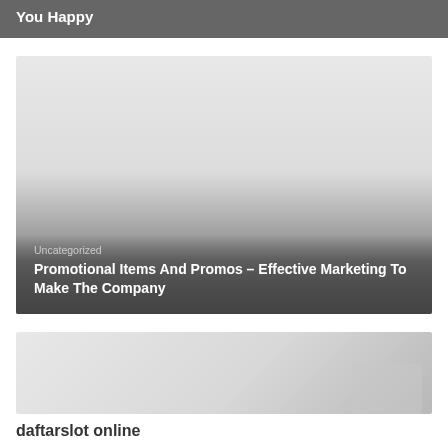You Happy
[Figure (photo): Card image with gradient overlay showing category and title for 'Promotional Items And Promos – Effective Marketing To Make The Company']
Uncategorized
Promotional Items And Promos – Effective Marketing To Make The Company
[Figure (photo): Partial card image for a second article, mostly light gray]
daftarslot online